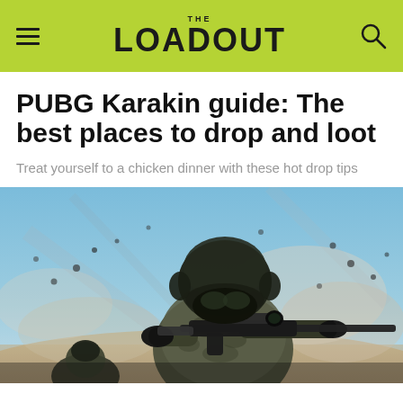THE LOADOUT
PUBG Karakin guide: The best places to drop and loot
Treat yourself to a chicken dinner with these hot drop tips
[Figure (photo): A PUBG soldier in full black tactical gear and helmet, aiming a scoped assault rifle directly at the viewer, with an exploding sandy/dusty battlefield background (bullets, debris, and another soldier visible). Screenshot from the game PUBG (PlayerUnknown's Battlegrounds).]